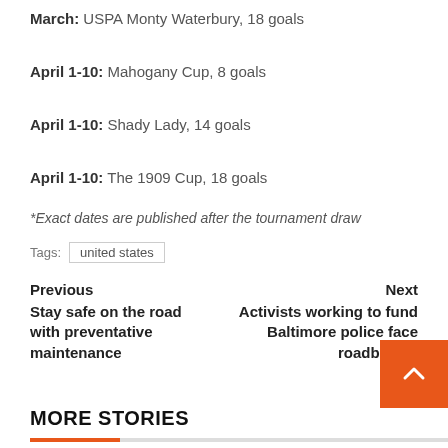March: USPA Monty Waterbury, 18 goals
April 1-10: Mahogany Cup, 8 goals
April 1-10: Shady Lady, 14 goals
April 1-10: The 1909 Cup, 18 goals
*Exact dates are published after the tournament draw
Tags: united states
Previous
Stay safe on the road with preventative maintenance
Next
Activists working to fund Baltimore police face roadblocks
MORE STORIES